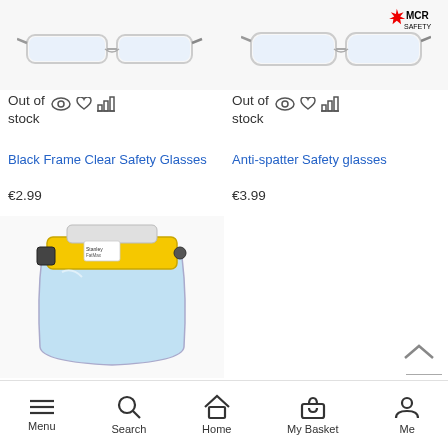[Figure (photo): Black frame clear safety glasses product image, top cropped]
[Figure (photo): Anti-spatter safety glasses product image with MCR Safety logo]
Out of stock
Out of stock
Black Frame Clear Safety Glasses
Anti-spatter Safety glasses
€2.99
€3.99
[Figure (photo): Yellow face shield / visor safety helmet product image]
Menu  Search  Home  My Basket  Me